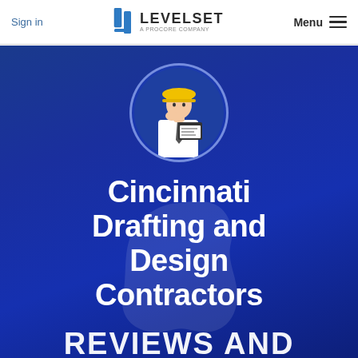Sign in | LEVELSET A PROCORE COMPANY | Menu
[Figure (photo): Construction worker/contractor with yellow hard hat, white shirt and tie, holding a clipboard, shown in a circular cropped photo on a blue gradient hero banner background]
Cincinnati Drafting and Design Contractors
REVIEWS AND